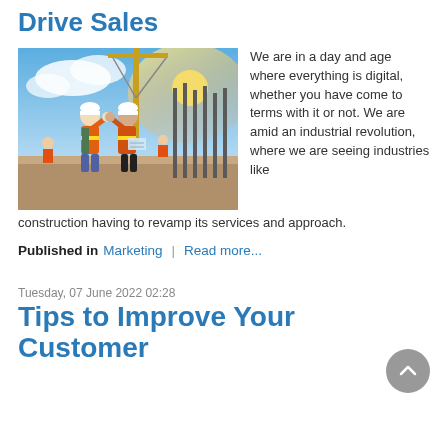Drive Sales
[Figure (photo): Two construction workers in orange safety vests and white hard hats fist-bumping on a construction site with a crane and rebar in the background]
We are in a day and age where everything is digital, whether you have come to terms with it or not. We are amid an industrial revolution, where we are seeing industries like construction having to revamp its services and approach.
Published in  Marketing  |  Read more...
Tuesday, 07 June 2022 02:28
Tips to Improve Your Customer